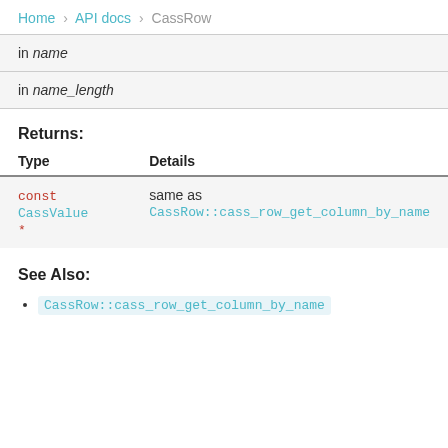Home > API docs > CassRow
in name
in name_length
Returns:
| Type | Details |
| --- | --- |
| const CassValue * | same as CassRow::cass_row_get_column_by_name |
See Also:
CassRow::cass_row_get_column_by_name